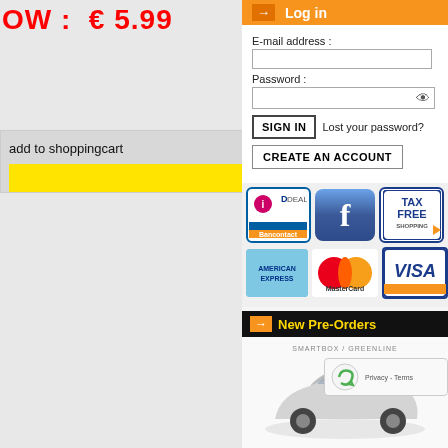OW : € 5.99
add to shoppingcart
Log in
E-mail address :
Password :
SIGN IN   Lost your password?
CREATE AN ACCOUNT
[Figure (logo): Payment method icons: iDEAL/Bancontact, Facebook, Tax Free Shopping, American Express, MasterCard, Visa]
New Pre-Orders
[Figure (photo): Silver tuned car model (Greenline/Smartbox brand)]
gl86340
€24.99